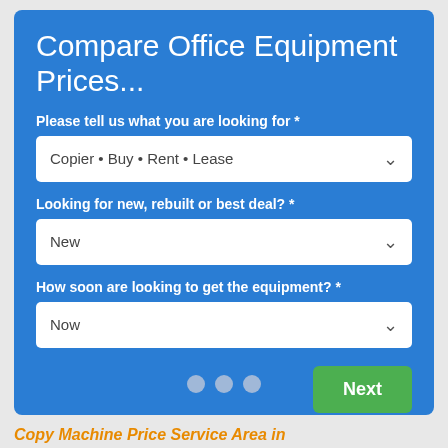Compare Office Equipment Prices...
Please tell us what you are looking for *
Copier • Buy • Rent • Lease
Looking for new, rebuilt or best deal? *
New
How soon are looking to get the equipment? *
Now
Next
Copy Machine Price Service Area in